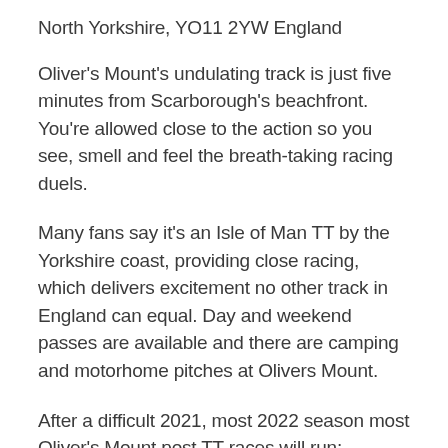North Yorkshire, YO11 2YW England
Oliver's Mount's undulating track is just five minutes from Scarborough's beachfront. You're allowed close to the action so you see, smell and feel the breath-taking racing duels.
Many fans say it's an Isle of Man TT by the Yorkshire coast, providing close racing, which delivers excitement no other track in England can equal. Day and weekend passes are available and there are camping and motorhome pitches at Olivers Mount.
After a difficult 2021, most 2022 season most Oliver's Mount post TT races will run: